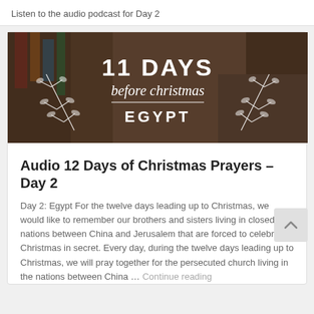Listen to the audio podcast for Day 2
[Figure (illustration): Banner image with text '11 DAYS before christmas EGYPT' overlaid on a market scene photograph]
Audio 12 Days of Christmas Prayers – Day 2
Day 2: Egypt For the twelve days leading up to Christmas, we would like to remember our brothers and sisters living in closed nations between China and Jerusalem that are forced to celebrate Christmas in secret. Every day, during the twelve days leading up to Christmas, we will pray together for the persecuted church living in the nations between China … Continue reading